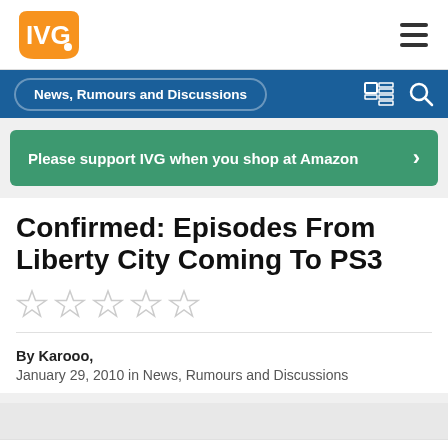[Figure (logo): IVG logo in orange]
News, Rumours and Discussions
Please support IVG when you shop at Amazon
Confirmed: Episodes From Liberty City Coming To PS3
By Karooo,
January 29, 2010 in News, Rumours and Discussions
« PREV   Page 1 of 7   NEXT »